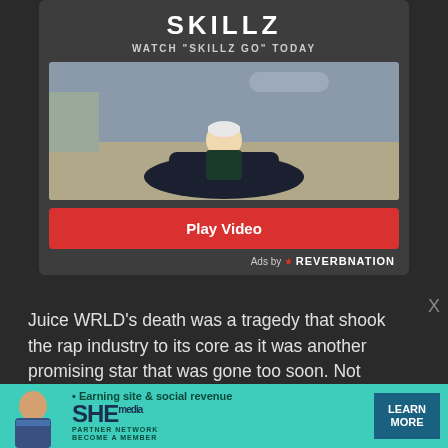SKILLZ
WATCH "SKILLZ GO" TODAY
[Figure (photo): Photo thumbnail of person on a vehicle on a road, used as a music video thumbnail for SKILLZ]
Play Video
Ads by ★ REVERBNATION
Juice WRLD’s death was a tragedy that shook the rap industry to its core as it was another promising star that was gone too soon. Not only was he a proven songwriter that he was able to channel his most inner emotions into
[Figure (infographic): SHE Media Partner Network advertisement banner with a woman on the left, text '• Earning site & social revenue', SHE logo, 'PARTNER NETWORK BECOME A MEMBER', and a 'LEARN MORE' button]